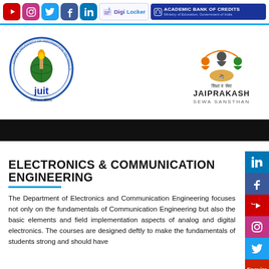Social media icons bar: YouTube, Instagram, Twitter, Facebook, LinkedIn, DigiLocker, Academic Bank of Credits
[Figure (logo): JUIT - Jaypee University of Information Technology circular logo with torch emblem]
[Figure (logo): Jaiprakash Sewa Sansthan logo with people figures and Hindi text]
ELECTRONICS & COMMUNICATION ENGINEERING
The Department of Electronics and Communication Engineering focuses not only on the fundamentals of Communication Engineering but also the basic elements and field implementation aspects of analog and digital electronics. The courses are designed deftly to make the fundamentals of students strong and should have...